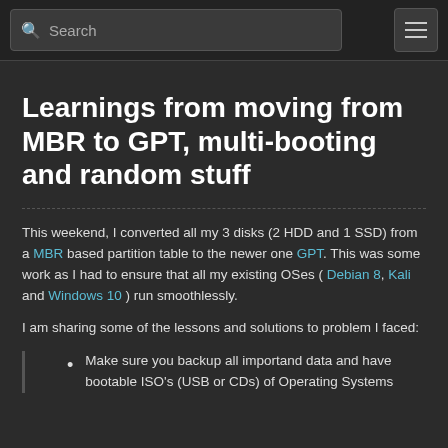Search | Menu
Learnings from moving from MBR to GPT, multi-booting and random stuff
This weekend, I converted all my 3 disks (2 HDD and 1 SSD) from a MBR based partition table to the newer one GPT. This was some work as I had to ensure that all my existing OSes ( Debian 8, Kali and Windows 10 ) run smoothlessly.
I am sharing some of the lessons and solutions to problem I faced:
Make sure you backup all importand data and have bootable ISO's (USB or CDs) of Operating Systems